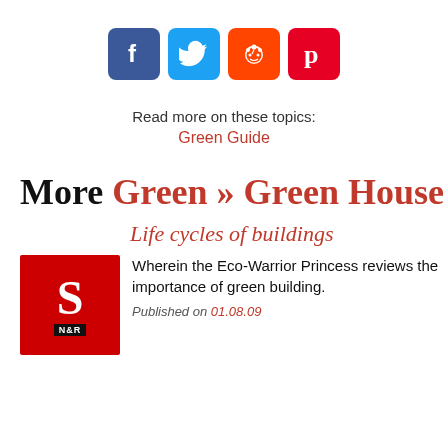[Figure (other): Social media share icons: Facebook (blue), Twitter (light blue), Reddit (orange), Pinterest (red)]
Read more on these topics:
Green Guide
More Green » Green House
Life cycles of buildings
[Figure (logo): Red square logo with white S and black N&R label]
Wherein the Eco-Warrior Princess reviews the importance of green building.
Published on 01.08.09